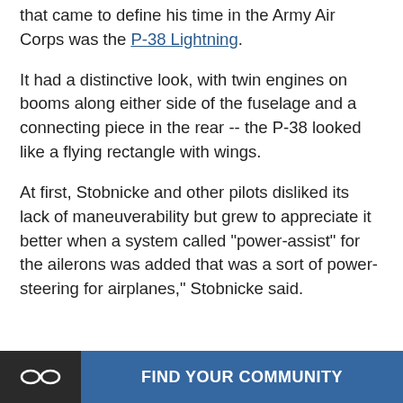that came to define his time in the Army Air Corps was the P-38 Lightning.
It had a distinctive look, with twin engines on booms along either side of the fuselage and a connecting piece in the rear -- the P-38 looked like a flying rectangle with wings.
At first, Stobnicke and other pilots disliked its lack of maneuverability but grew to appreciate it better when a system called "power-assist" for the ailerons was added that was a sort of power-steering for airplanes," Stobnicke said.
[Figure (other): Chat support tooltip popup overlay with text 'Hi! Click here if you have any questions.' and a close X button, overlapping an icon of a circular chat bubble button in dark navy on the right.]
FIND YOUR COMMUNITY